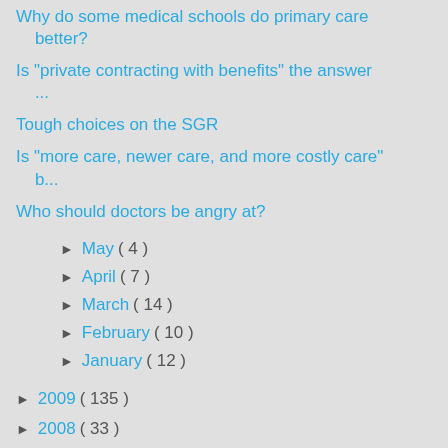Why do some medical schools do primary care better?
Is "private contracting with benefits" the answer ...
Tough choices on the SGR
Is "more care, newer care, and more costly care" b...
Who should doctors be angry at?
May ( 4 )
April ( 7 )
March ( 14 )
February ( 10 )
January ( 12 )
2009 ( 135 )
2008 ( 33 )